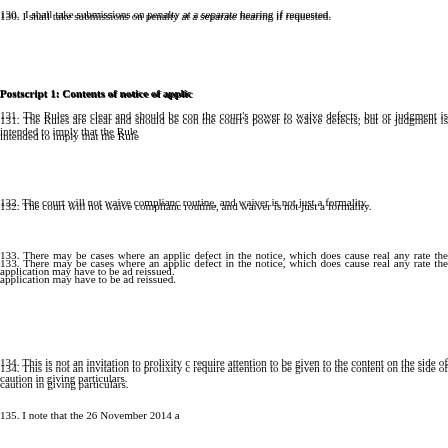130. I shall take submissions on penalty at a separate hearing if requested.
Postscript 1: Contents of notice of application
131. The Rules are clear and should be complied with. I note the court's power to waive defects, but one aspect of this judgment is intended to imply that the Rules are directory.
132. The court will not waive compliance as a matter of routine, and waiver is not just a formality.
133. There may be cases where an applicant points to a defect in the notice, which does cause real prejudice, and at any rate the application may have to be adjourned and reissued.
134. This is not an invitation to prolixity or verbiage but require attention to be given to the contents and to err on the side of caution in giving particulars.
135. I note that the 26 November 2014 application used Annex 1, as referred to in Box 3 in that form, to set out the breach of the order of 10 December 2014 but apparently the same practice was not followed on this occasion.
136. In this case I have concluded that it is possible to spell orders, because of their simplicity, but that issue, however, and the breach identified, notwithstanding